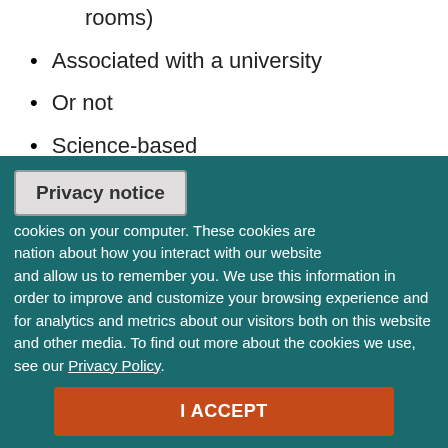rooms)
Associated with a university
Or not
Science-based
Creationism-based
Nature Centers
Privacy notice
cookies on your computer. These cookies are nation about how you interact with our website and allow us to remember you. We use this information in order to improve and customize your browsing experience and for analytics and metrics about our visitors both on this website and other media. To find out more about the cookies we use, see our Privacy Policy.
I ACCEPT